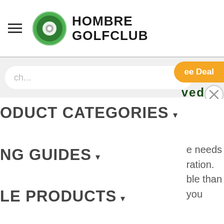Hombre Golfclub
Search...
ee Deal
ved
ODUCT CATEGORIES ▾
NG GUIDES ▾
LE PRODUCTS ▾
needs
ration.
ble than
you